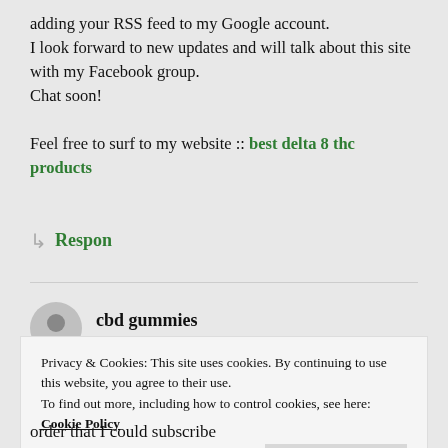adding your RSS feed to my Google account. I look forward to new updates and will talk about this site with my Facebook group. Chat soon!
Feel free to surf to my website :: best delta 8 thc products
↳ Respon
cbd gummies
Privacy & Cookies: This site uses cookies. By continuing to use this website, you agree to their use. To find out more, including how to control cookies, see here: Cookie Policy
Close and accept
order that I could subscribe